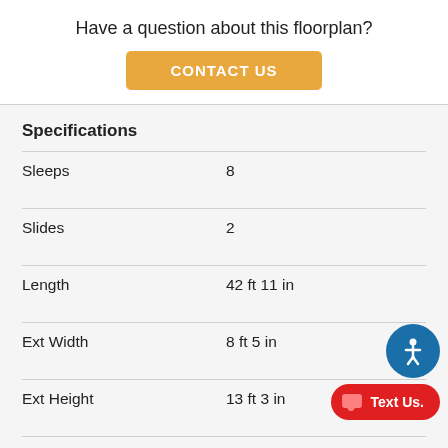Have a question about this floorplan?
CONTACT US
Specifications
| Specification | Value |
| --- | --- |
| Sleeps | 8 |
| Slides | 2 |
| Length | 42 ft 11 in |
| Ext Width | 8 ft 5 in |
| Ext Height | 13 ft 3 in |
| Interior Color | Titanium, Instinct |
| Hitch Weight | 3164 lbs |
| Gross Weight | 17000 lbs |
| Dry Weight | 12... lbs |
| Cargo Weight | 4289 lbs |